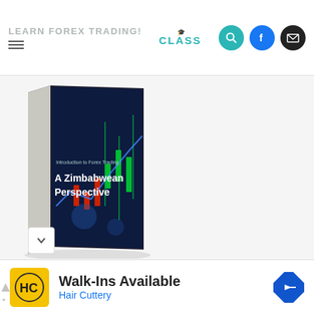LEARN FOREX TRADING! CLASS
[Figure (photo): A book titled 'Introduction to Forex Trading: A Zimbabwean Perspective' shown in 3D perspective with a dark cover featuring forex trading charts.]
[Figure (infographic): Advertisement for Hair Cuttery - Walk-Ins Available, showing HC logo and navigation arrow icon.]